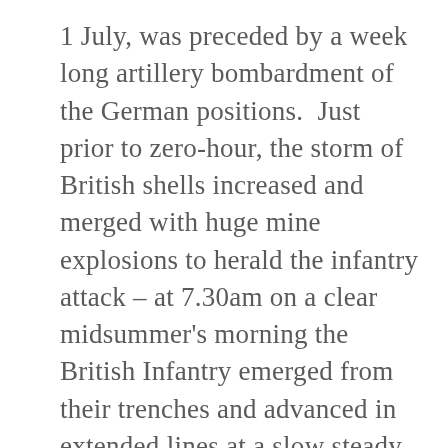1 July, was preceded by a week long artillery bombardment of the German positions.  Just prior to zero-hour, the storm of British shells increased and merged with huge mine explosions to herald the infantry attack – at 7.30am on a clear midsummer's morning the British Infantry emerged from their trenches and advanced in extended lines at a slow steady pace over the grassy expanse of a No Man's Land. They were met with a hail of machine gun fire and rifle fire from the surviving German defenders. Accurate German artillery barrages